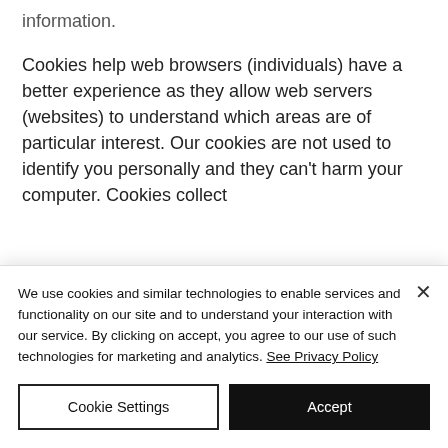information.
Cookies help web browsers (individuals) have a better experience as they allow web servers (websites) to understand which areas are of particular interest. Our cookies are not used to identify you personally and they can't harm your computer. Cookies collect
We use cookies and similar technologies to enable services and functionality on our site and to understand your interaction with our service. By clicking on accept, you agree to our use of such technologies for marketing and analytics. See Privacy Policy
Cookie Settings
Accept